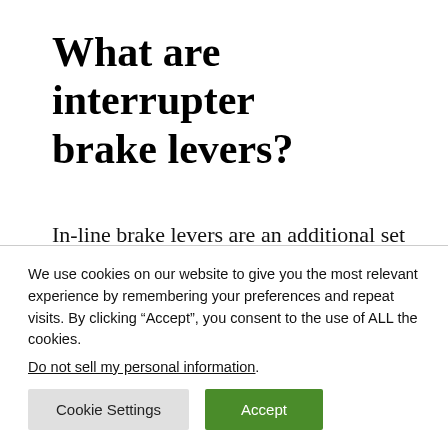What are interrupter brake levers?
In-line brake levers are an additional set of brake levers that may be installed on drop-type handlebars. In-line brake levers are designed to clamp on specific
We use cookies on our website to give you the most relevant experience by remembering your preferences and repeat visits. By clicking “Accept”, you consent to the use of ALL the cookies.
Do not sell my personal information.